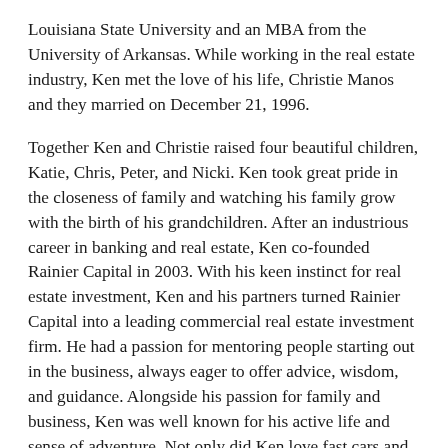Louisiana State University and an MBA from the University of Arkansas. While working in the real estate industry, Ken met the love of his life, Christie Manos and they married on December 21, 1996.
Together Ken and Christie raised four beautiful children, Katie, Chris, Peter, and Nicki. Ken took great pride in the closeness of family and watching his family grow with the birth of his grandchildren. After an industrious career in banking and real estate, Ken co-founded Rainier Capital in 2003. With his keen instinct for real estate investment, Ken and his partners turned Rainier Capital into a leading commercial real estate investment firm. He had a passion for mentoring people starting out in the business, always eager to offer advice, wisdom, and guidance. Alongside his passion for family and business, Ken was well known for his active life and sense of adventure. Not only did Ken love fast cars and motorcycles, he loved traveling with his father and sons pursuing high adventure sports from skiing, dirt-biking, helicopter trips in Nepal to water sports and boating.
Ken was happiest at their lake house with family, golfing at Northwood with friends, or at their house in Truckee, California